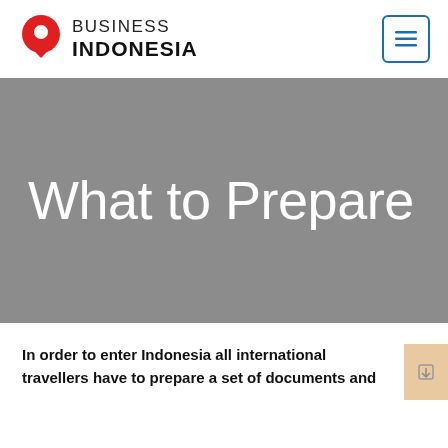[Figure (logo): Business Indonesia logo with red map pin icon and bold text]
What to Prepare
In order to enter Indonesia all international travellers have to prepare a set of documents and